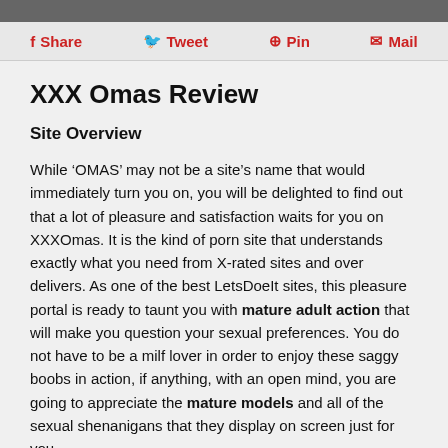f Share  y Tweet  Pin  Mail
XXX Omas Review
Site Overview
While ‘OMAS’ may not be a site’s name that would immediately turn you on, you will be delighted to find out that a lot of pleasure and satisfaction waits for you on XXXOmas. It is the kind of porn site that understands exactly what you need from X-rated sites and over delivers. As one of the best LetsDoeIt sites, this pleasure portal is ready to taunt you with mature adult action that will make you question your sexual preferences. You do not have to be a milf lover in order to enjoy these saggy boobs in action, if anything, with an open mind, you are going to appreciate the mature models and all of the sexual shenanigans that they display on screen just for you.